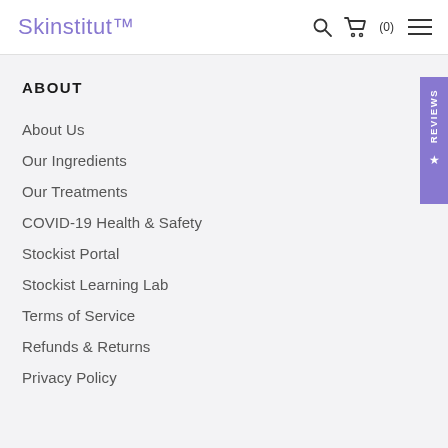Skinstitut™
ABOUT
About Us
Our Ingredients
Our Treatments
COVID-19 Health & Safety
Stockist Portal
Stockist Learning Lab
Terms of Service
Refunds & Returns
Privacy Policy